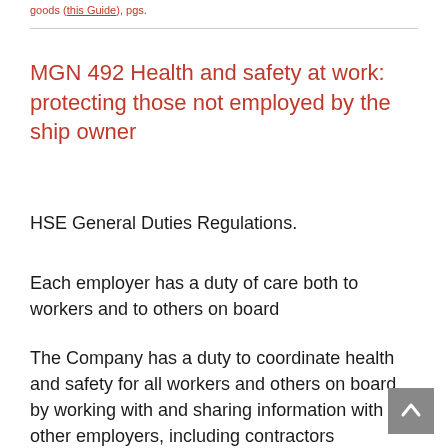goods (this Guide), pgs.
MGN 492 Health and safety at work: protecting those not employed by the ship owner
HSE General Duties Regulations.
Each employer has a duty of care both to workers and to others on board
The Company has a duty to coordinate health and safety for all workers and others on board, by working with and sharing information with other employers, including contractors temporarily on board